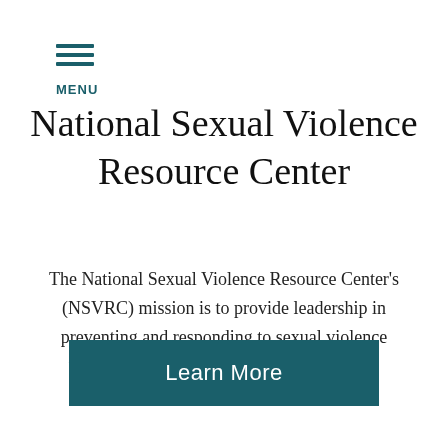MENU
National Sexual Violence Resource Center
The National Sexual Violence Resource Center's (NSVRC) mission is to provide leadership in preventing and responding to sexual violence through collaboration, sharing and creating resources, and promoting research.
Learn More